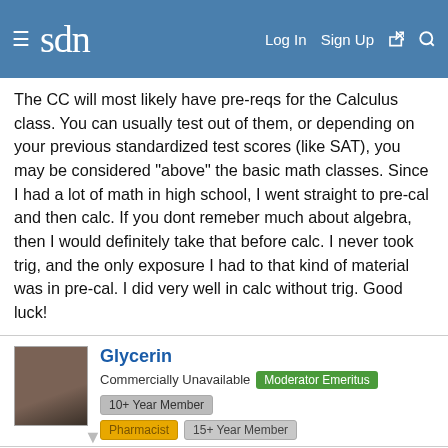sdn — Log In  Sign Up
The CC will most likely have pre-reqs for the Calculus class. You can usually test out of them, or depending on your previous standardized test scores (like SAT), you may be considered "above" the basic math classes. Since I had a lot of math in high school, I went straight to pre-cal and then calc. If you dont remeber much about algebra, then I would definitely take that before calc. I never took trig, and the only exposure I had to that kind of material was in pre-cal. I did very well in calc without trig. Good luck!
Glycerin
Commercially Unavailable  Moderator Emeritus  10+ Year Member
Pharmacist  15+ Year Member
Feb 22, 2005  #4
rxaggie2005 said:
The CC will most likely have pre-reqs for the Calculus class. You can usually test out of them, or depending on your previous standardized test scores (like SAT), you may be considered...